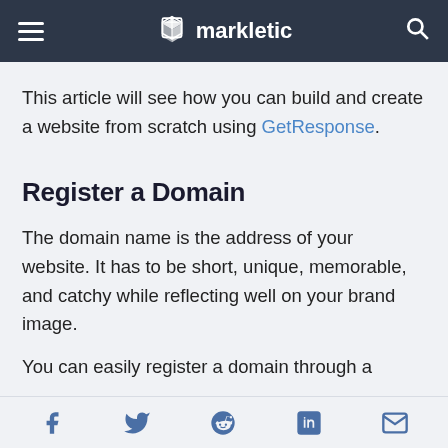markletic
This article will see how you can build and create a website from scratch using GetResponse.
Register a Domain
The domain name is the address of your website. It has to be short, unique, memorable, and catchy while reflecting well on your brand image.
You can easily register a domain through a domain
Social share icons: Facebook, Twitter, Reddit, LinkedIn, Email